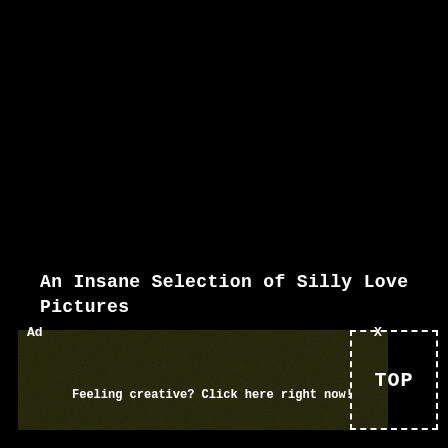An Insane Selection of Silly Love Pictures
[Figure (other): Dark noisy advertisement banner with text: Ad | X | Feeling creative? Click here right now!]
TOP